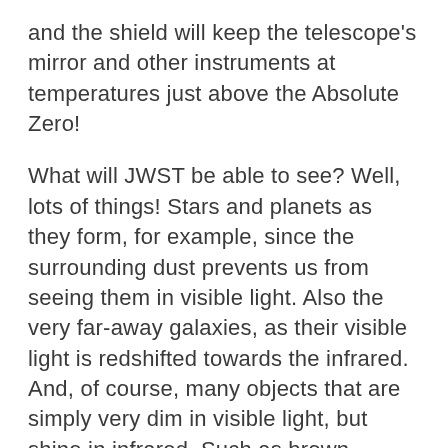and the shield will keep the telescope's mirror and other instruments at temperatures just above the Absolute Zero!
What will JWST be able to see? Well, lots of things! Stars and planets as they form, for example, since the surrounding dust prevents us from seeing them in visible light. Also the very far-away galaxies, as their visible light is redshifted towards the infrared. And, of course, many objects that are simply very dim in visible light, but shine in infrared. Such as brown dwarfs!